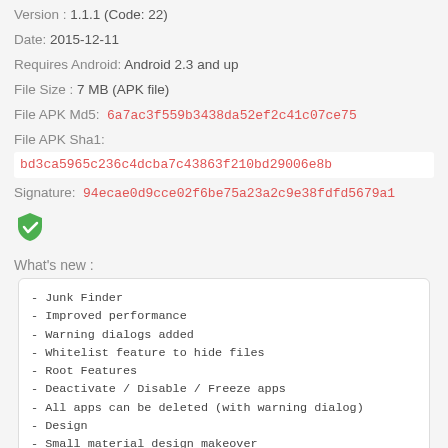Version : 1.1.1 (Code: 22)
Date: 2015-12-11
Requires Android: Android 2.3 and up
File Size : 7 MB (APK file)
File APK Md5:  6a7ac3f559b3438da52ef2c41c07ce75
File APK Sha1:
bd3ca5965c236c4dcba7c43863f210bd29006e8b
Signature:  94ecae0d9cce02f6be75a23a2c9e38fdfd5679a1
[Figure (illustration): Green checkmark shield icon]
What's new :
- Junk Finder
- Improved performance
- Warning dialogs added
- Whitelist feature to hide files
- Root Features
- Deactivate / Disable / Freeze apps
- All apps can be deleted (with warning dialog)
- Design
- Small material design makeover
- Colored Statusbar
- Reset background color (Always yellow? Reset -> blue
- Bugfix:
- SD-Card should be shown now
- Crash fixed from newest update